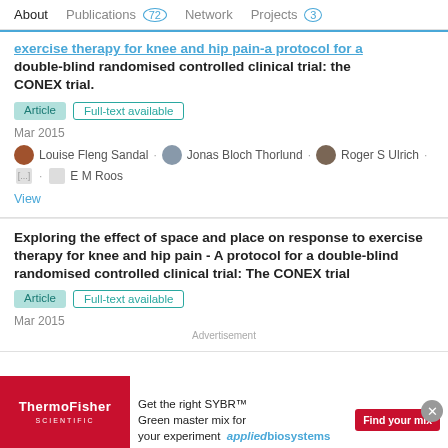About   Publications 72   Network   Projects 3
exercise therapy for knee and hip pain-a protocol for a double-blind randomised controlled clinical trial: the CONEX trial.
Article   Full-text available
Mar 2015
Louise Fleng Sandal · Jonas Bloch Thorlund · Roger S Ulrich · [...] · E M Roos
View
Exploring the effect of space and place on response to exercise therapy for knee and hip pain - A protocol for a double-blind randomised controlled clinical trial: The CONEX trial
Article   Full-text available
Mar 2015
[Figure (screenshot): ThermoFisher Scientific advertisement banner. Red background with white logo on left, white section with text 'Get the right SYBR™ Green master mix for your experiment' and 'appliedbiosystems' branding, plus red 'Find your mix' button.]